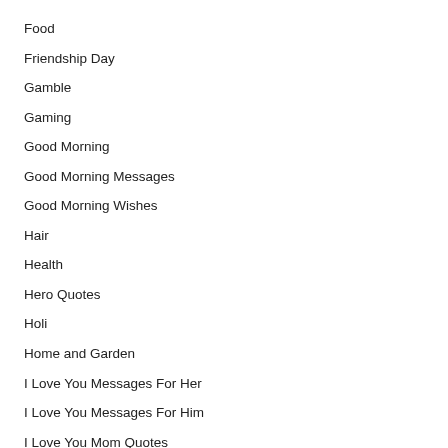Food
Friendship Day
Gamble
Gaming
Good Morning
Good Morning Messages
Good Morning Wishes
Hair
Health
Hero Quotes
Holi
Home and Garden
I Love You Messages For Her
I Love You Messages For Him
I Love You Mom Quotes